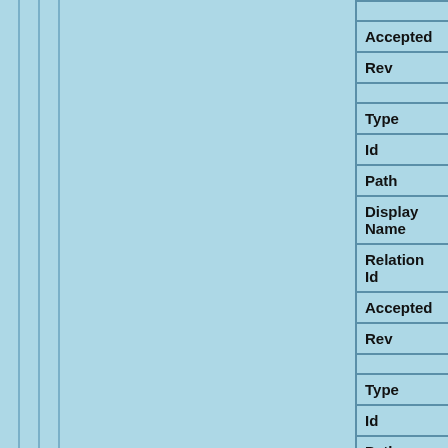| Field | Value |
| --- | --- |
| Accepted | yes |
| Rev | 1 |
| Type | tekstdrager |
| Id | TDRA0000000002140 |
| Path | domain/tekstdragers/TDRA0000... |
| Display Name | GRONINGEN, UB : PEIP 36 |
| Relation Id | RELA000000053004 |
| Accepted | yes |
| Rev | 1 |
| Type | tekstdrager |
| Id | TDRA0000000002141 |
| Path | domain/tekstdragers/TDRA0000... |
| Display |  |